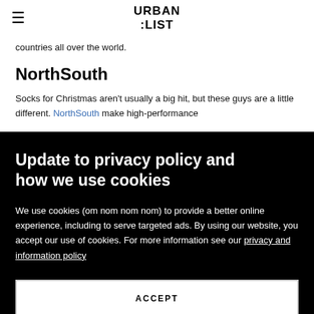URBAN LIST
countries all over the world.
NorthSouth
Socks for Christmas aren't usually a big hit, but these guys are a little different. NorthSouth make high-performance
Update to privacy policy and how we use cookies
We use cookies (om nom nom nom) to provide a better online experience, including to serve targeted ads. By using our website, you accept our use of cookies. For more information see our privacy and information policy
ACCEPT